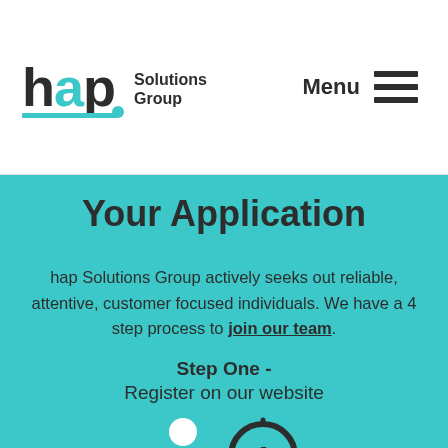hap Solutions Group | Menu
Your Application
hap Solutions Group actively seeks out reliable, attentive, customer focused individuals. We have a 4 step process to join our team.
Step One - Register on our website
[Figure (illustration): Person icon and number 1 in a circle icon representing step one registration]